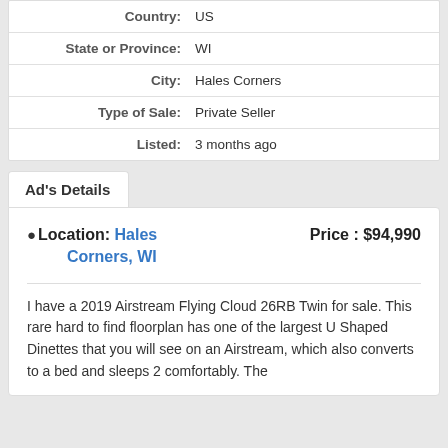| Field | Value |
| --- | --- |
| Country: | US |
| State or Province: | WI |
| City: | Hales Corners |
| Type of Sale: | Private Seller |
| Listed: | 3 months ago |
Ad's Details
Location: Hales Corners, WI   Price : $94,990
I have a 2019 Airstream Flying Cloud 26RB Twin for sale. This rare hard to find floorplan has one of the largest U Shaped Dinettes that you will see on an Airstream, which also converts to a bed and sleeps 2 comfortably. The